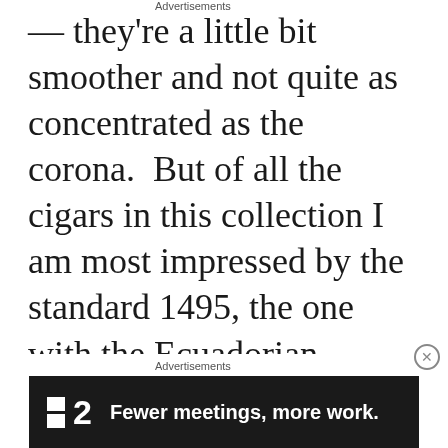— they're a little bit smoother and not quite as concentrated as the corona.  But of all the cigars in this collection I am most impressed by the standard 1495, the one with the Ecuadorian Sumatra wrapper. I can't say it's the finest wrapper of the bunch, but in combination with the
Advertisements
[Figure (other): Advertisement banner with dark background showing a logo consisting of two squares and the number 2, with text: Fewer meetings, more work.]